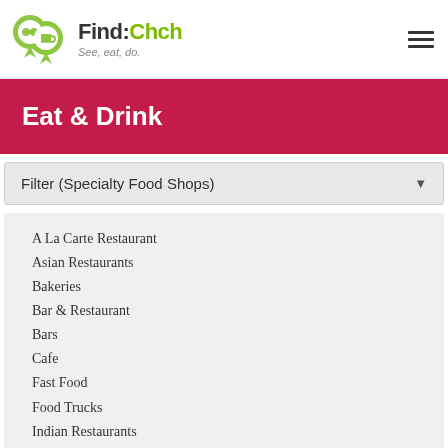Find:Chch See, eat, do.
Eat & Drink
Filter (Specialty Food Shops)
A La Carte Restaurant
Asian Restaurants
Bakeries
Bar & Restaurant
Bars
Cafe
Fast Food
Food Trucks
Indian Restaurants
Italian Restaurants
Members Clubs
Mexican Restaurants